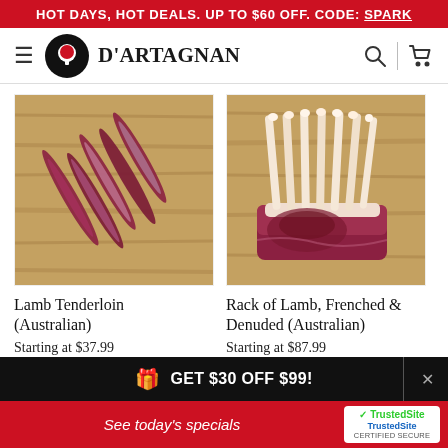HOT DAYS, HOT DEALS. UP TO $60 OFF. CODE: SPARK
[Figure (logo): D'Artagnan brand logo with navigation bar including hamburger menu, circular chef logo, brand name, search icon, and cart icon]
[Figure (photo): Lamb Tenderloin (Australian) — multiple strips of raw lamb tenderloin arranged on a wooden cutting board]
[Figure (photo): Rack of Lamb, Frenched & Denuded (Australian) — a frenched rack of lamb with exposed bones standing upright on a wooden cutting board]
Lamb Tenderloin (Australian)
Starting at $37.99
Rack of Lamb, Frenched & Denuded (Australian)
Starting at $87.99
GET $30 OFF $99!
See today's specials